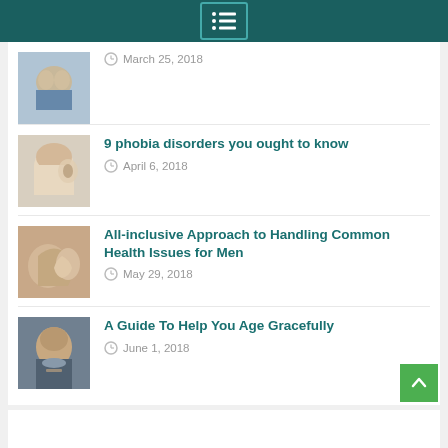Menu navigation bar
[Figure (photo): Hands clasped together over a person's face, partial view]
March 25, 2018
[Figure (photo): Person covering face with hands, only one eye visible]
9 phobia disorders you ought to know
April 6, 2018
[Figure (photo): Close-up of a hand cupped behind an ear]
All-inclusive Approach to Handling Common Health Issues for Men
May 29, 2018
[Figure (photo): Portrait of a man with stubble against dark background]
A Guide To Help You Age Gracefully
June 1, 2018